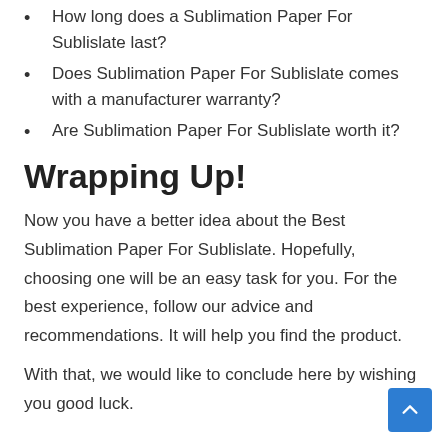How long does a Sublimation Paper For Sublislate last?
Does Sublimation Paper For Sublislate comes with a manufacturer warranty?
Are Sublimation Paper For Sublislate worth it?
Wrapping Up!
Now you have a better idea about the Best Sublimation Paper For Sublislate. Hopefully, choosing one will be an easy task for you. For the best experience, follow our advice and recommendations. It will help you find the product.
With that, we would like to conclude here by wishing you good luck.